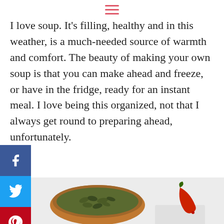☰
I love soup. It's filling, healthy and in this weather, is a much-needed source of warmth and comfort. The beauty of making your own soup is that you can make ahead and freeze, or have in the fridge, ready for an instant meal. I love being this organized, not that I always get round to preparing ahead, unfortunately.
[Figure (photo): A white bowl of smooth green soup topped with red chili rings and pumpkin seeds, with a copper bowl of pumpkin seeds and a red chili pepper in the background, alongside a gold spoon.]